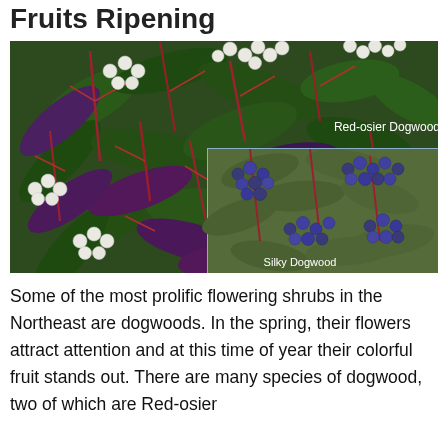Fruits Ripening
[Figure (photo): A photograph of Red-osier Dogwood shrub with clusters of white berries on reddish stems and dark green and purple leaves. An inset photo shows Silky Dogwood with clusters of blue-black berries. Both plant names are labeled in white text within the image.]
Some of the most prolific flowering shrubs in the Northeast are dogwoods. In the spring, their flowers attract attention and at this time of year their colorful fruit stands out. There are many species of dogwood, two of which are Red-osier